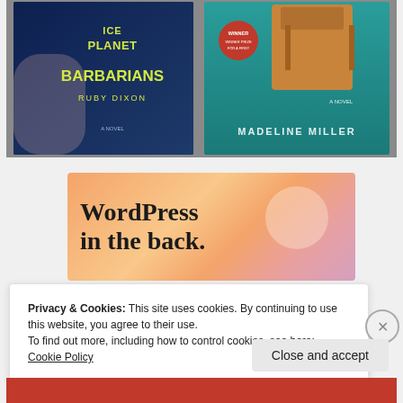[Figure (photo): Two books lying on a gray surface: 'Ice Planet Barbarians' by Ruby Dixon (left, dark blue cover) and a novel by Madeline Miller (right, teal cover with bronze helmet silhouette and a red 'Winner' sticker)]
[Figure (screenshot): Advertisement banner with peach/salmon gradient background reading 'WordPress in the back.' in large bold serif font]
Privacy & Cookies: This site uses cookies. By continuing to use this website, you agree to their use.
To find out more, including how to control cookies, see here: Cookie Policy
Close and accept